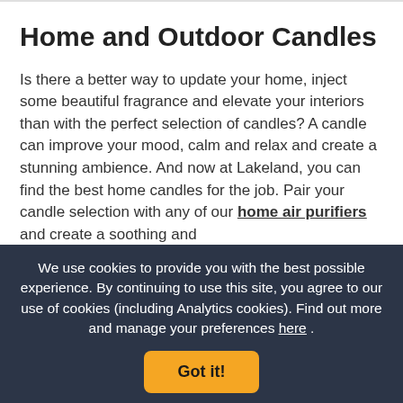Home and Outdoor Candles
Is there a better way to update your home, inject some beautiful fragrance and elevate your interiors than with the perfect selection of candles? A candle can improve your mood, calm and relax and create a stunning ambience. And now at Lakeland, you can find the best home candles for the job. Pair your candle selection with any of our home air purifiers and create a soothing and
We use cookies to provide you with the best possible experience. By continuing to use this site, you agree to our use of cookies (including Analytics cookies). Find out more and manage your preferences here .
Got it!